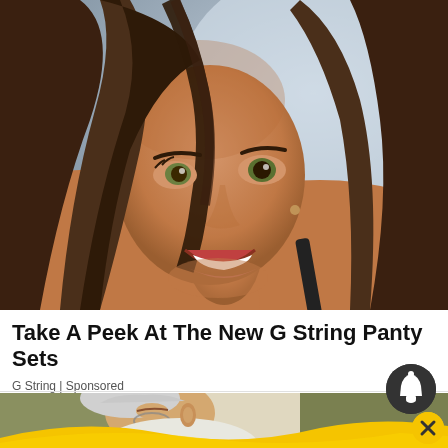[Figure (photo): Close-up photo of a smiling brunette woman with hair across her face, wearing a black strap top, blurred light background]
Take A Peek At The New G String Panty Sets
G String | Sponsored
[Figure (photo): Elderly person sleeping or resting on a couch/sofa, with a yellow wave/banner overlay at bottom and a notification bell icon and close button]
[Figure (infographic): Dark circular bell/notification button overlay, and yellow circular close button with X]